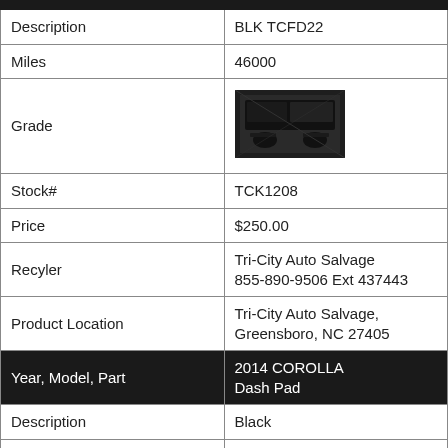| Field | Value |
| --- | --- |
| Description | BLK TCFD22 |
| Miles | 46000 |
| Grade | [image: car interior dashboard] |
| Stock# | TCK1208 |
| Price | $250.00 |
| Recyler | Tri-City Auto Salvage
855-890-9506 Ext 437443 |
| Product Location | Tri-City Auto Salvage,
Greensboro, NC 27405 |
| Year, Model, Part | 2014 COROLLA
Dash Pad |
| Description | Black |
| Miles | 29000 |
| Grade |  |
| Stock# | CCL100 |